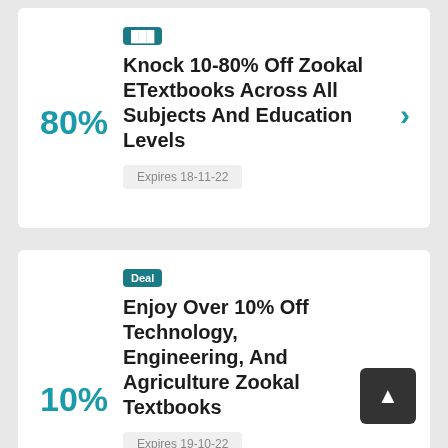80%
Knock 10-80% Off Zookal ETextbooks Across All Subjects And Education Levels
Expires 18-11-22
Deal
10%
Enjoy Over 10% Off Technology, Engineering, And Agriculture Zookal Textbooks
Expires 19-10-22